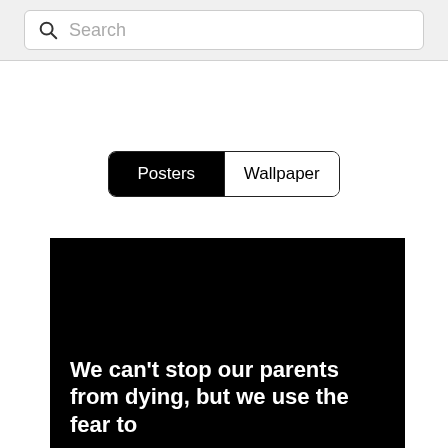Search
Posters  Wallpaper
[Figure (illustration): Black poster with bold white text reading: We can't stop our parents from dying, but we use the fear to]
We can't stop our parents from dying, but we use the fear to